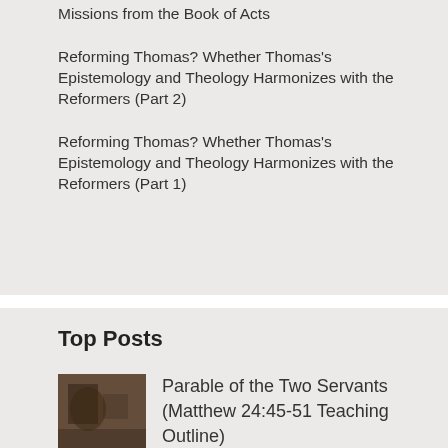Missions from the Book of Acts
Reforming Thomas? Whether Thomas's Epistemology and Theology Harmonizes with the Reformers (Part 2)
Reforming Thomas? Whether Thomas's Epistemology and Theology Harmonizes with the Reformers (Part 1)
Top Posts
[Figure (photo): Thumbnail image related to Parable of the Two Servants post, showing a dark-toned historical or religious illustration]
Parable of the Two Servants (Matthew 24:45-51 Teaching Outline)